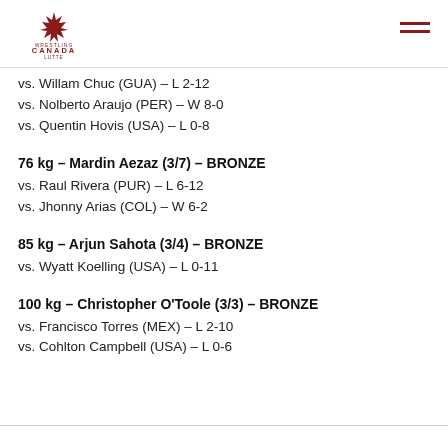Wrestling Canada Lutte
vs. Willam Chuc (GUA) – L 2-12
vs. Nolberto Araujo (PER) – W 8-0
vs. Quentin Hovis (USA) – L 0-8
76 kg – Mardin Aezaz (3/7) – BRONZE
vs. Raul Rivera (PUR) – L 6-12
vs. Jhonny Arias (COL) – W 6-2
85 kg – Arjun Sahota (3/4) – BRONZE
vs. Wyatt Koelling (USA) – L 0-11
100 kg – Christopher O'Toole (3/3) – BRONZE
vs. Francisco Torres (MEX) – L 2-10
vs. Cohlton Campbell (USA) – L 0-6